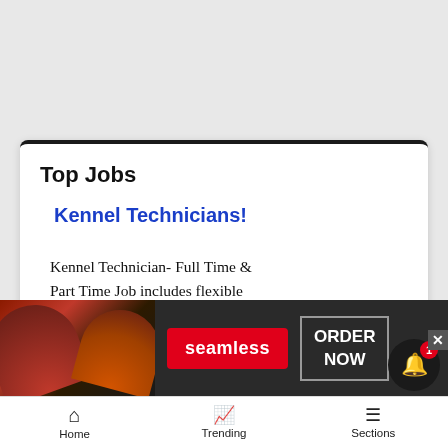Top Jobs
Kennel Technicians!
Kennel Technician- Full Time & Part Time Job includes flexible hours, competitive pay, must be able to work holidays and...
[Figure (screenshot): Seamless food delivery advertisement banner with pizza image, red Seamless logo button, and ORDER NOW button]
Home   Trending   Sections